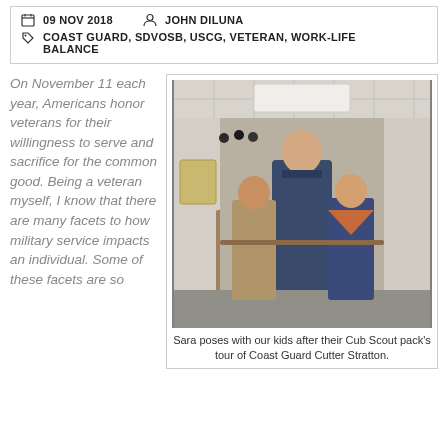09 NOV 2018   JOHN DILUNA   COAST GUARD, SDVOSB, USCG, VETERAN, WORK-LIFE BALANCE
On November 11 each year, Americans honor veterans for their willingness to serve and sacrifice for the common good. Being a veteran myself, I know that there are many facets to how military service impacts an individual. Some of these facets are so
[Figure (photo): A woman in a Coast Guard uniform poses with two children (a girl and a boy in a Cub Scout uniform) in a narrow shipboard corridor.]
Sara poses with our kids after their Cub Scout pack's tour of Coast Guard Cutter Stratton.